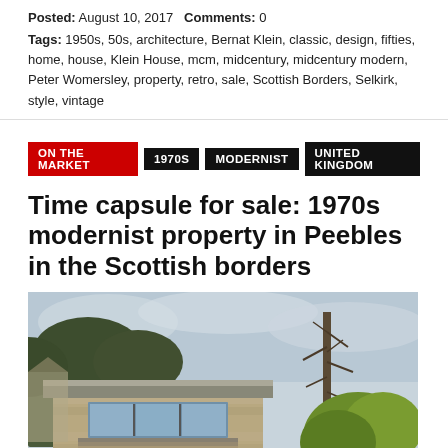Posted: August 10, 2017   Comments: 0
Tags: 1950s, 50s, architecture, Bernat Klein, classic, design, fifties, home, house, Klein House, mcm, midcentury, midcentury modern, Peter Womersley, property, retro, sale, Scottish Borders, Selkirk, style, vintage
ON THE MARKET | 1970s | MODERNIST | UNITED KINGDOM
Time capsule for sale: 1970s modernist property in Peebles in the Scottish borders
[Figure (photo): Exterior photograph of a 1970s modernist property with stone walls, large horizontal windows, flat roof extension, surrounded by trees and greenery]